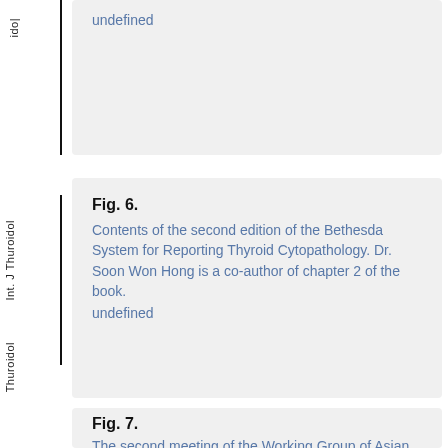ido|
undefined
Fig. 6.
Contents of the second edition of the Bethesda System for Reporting Thyroid Cytopathology. Dr. Soon Won Hong is a co-author of chapter 2 of the book.
undefined
Int. J Thuroidol
Fig. 7.
The second meeting of the Working Group of Asian Thyroid